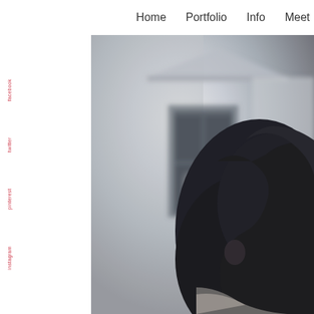Home    Portfolio    Info    Meet
[Figure (photo): Black and white photograph of a young woman seen from behind/side, dark curly hair, with a blurred urban building background featuring an arched doorway]